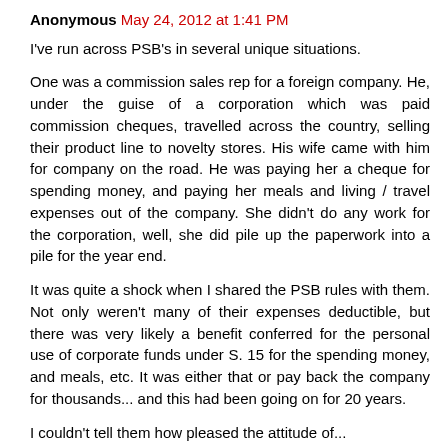Anonymous May 24, 2012 at 1:41 PM
I've run across PSB's in several unique situations.
One was a commission sales rep for a foreign company. He, under the guise of a corporation which was paid commission cheques, travelled across the country, selling their product line to novelty stores. His wife came with him for company on the road. He was paying her a cheque for spending money, and paying her meals and living / travel expenses out of the company. She didn't do any work for the corporation, well, she did pile up the paperwork into a pile for the year end.
It was quite a shock when I shared the PSB rules with them. Not only weren't many of their expenses deductible, but there was very likely a benefit conferred for the personal use of corporate funds under S. 15 for the spending money, and meals, etc. It was either that or pay back the company for thousands... and this had been going on for 20 years.
I couldn't tell them how pleased the attitude of...